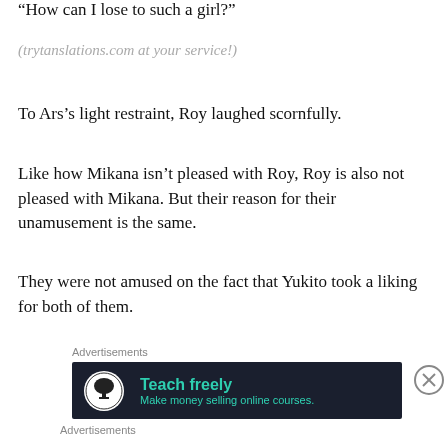“How can I lose to such a girl?”
(trytranslations.com at your service!)
To Ars’s light restraint, Roy laughed scornfully.
Like how Mikana isn’t pleased with Roy, Roy is also not pleased with Mikana. But their reason for their unamusement is the same.
They were not amused on the fact that Yukito took a liking for both of them.
Advertisements
[Figure (other): Advertisement banner: dark background with tree icon, teal text reading 'Teach freely' and 'Make money selling online courses.']
Advertisements
[Figure (other): Advertisement banner: photo of person outdoors, text 'Over 150,000 5-star reviews' with Day One Journal logo]